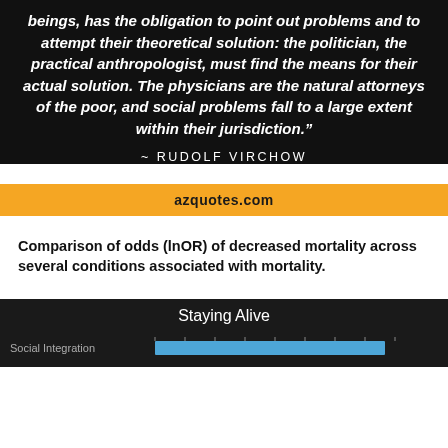beings, has the obligation to point out problems and to attempt their theoretical solution: the politician, the practical anthropologist, must find the means for their actual solution. The physicians are the natural attorneys of the poor, and social problems fall to a large extent within their jurisdiction."
~ RUDOLF VIRCHOW
azquotes.com
Comparison of odds (lnOR) of decreased mortality across several conditions associated with mortality.
[Figure (other): Partial view of a bar chart titled 'Staying Alive' showing Social Integration bar with a horizontal blue bar on dark background]